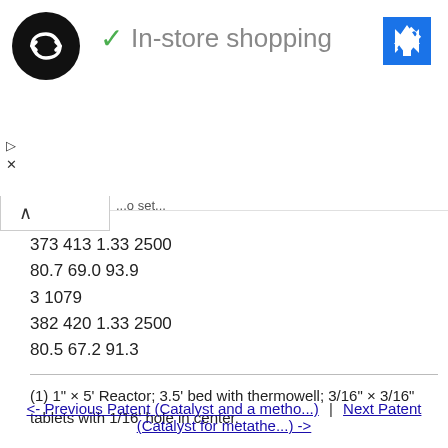[Figure (logo): Black circular logo with double-arrow/infinity symbol in white]
✓ In-store shopping
[Figure (illustration): Blue diamond navigation/directions icon]
▷
✕
...o set...
373 413 1.33 2500
80.7 69.0 93.9
3 1079
382 420 1.33 2500
80.5 67.2 91.3
(1) 1" × 5' Reactor; 3.5' bed with thermowell; 3/16" × 3/16" tablets with 1/16' hole in center.
<- Previous Patent (Catalyst and a metho...)  |  Next Patent (Catalyst for metathe...) ->